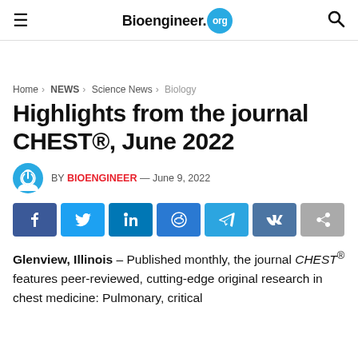Bioengineer.org
Home › NEWS › Science News › Biology
Highlights from the journal CHEST®, June 2022
BY BIOENGINEER — June 9, 2022
Glenview, Illinois – Published monthly, the journal CHEST® features peer-reviewed, cutting-edge original research in chest medicine: Pulmonary, critical